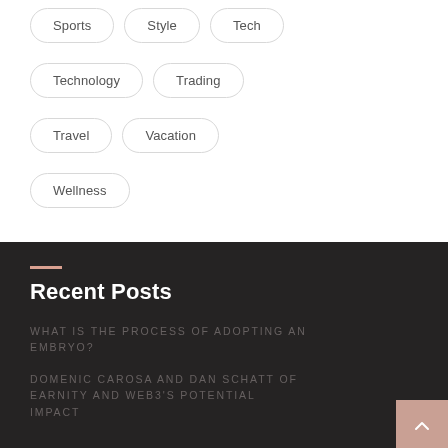Sports
Style
Tech
Technology
Trading
Travel
Vacation
Wellness
Recent Posts
WHAT IS THE PROCESS OF ADOPTING AN EMBRYO?
DOMENIC CAROSA AND DAN SCHATT OF EARNITY AND WEB3’S POTENTIAL IMPACT